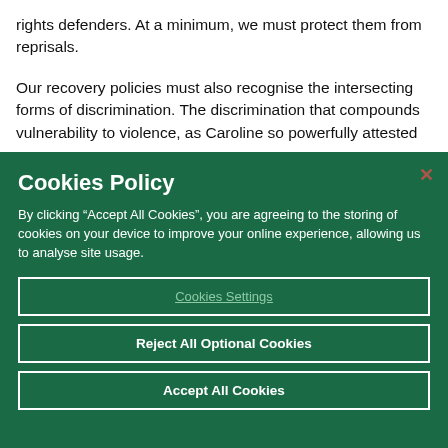rights defenders. At a minimum, we must protect them from reprisals.
Our recovery policies must also recognise the intersecting forms of discrimination. The discrimination that compounds vulnerability to violence, as Caroline so powerfully attested
Cookies Policy
By clicking “Accept All Cookies”, you are agreeing to the storing of cookies on your device to improve your online experience, allowing us to analyse site usage.
Cookies Settings
Reject All Optional Cookies
Accept All Cookies